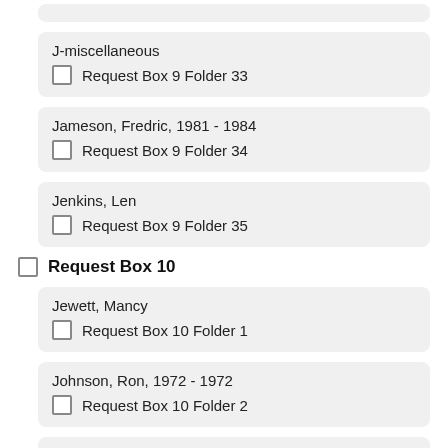J-miscellaneous
Request Box 9 Folder 33
Jameson, Fredric, 1981 - 1984
Request Box 9 Folder 34
Jenkins, Len
Request Box 9 Folder 35
Request Box 10
Jewett, Mancy
Request Box 10 Folder 1
Johnson, Ron, 1972 - 1972
Request Box 10 Folder 2
Junker, Howard, 1985 - 1986